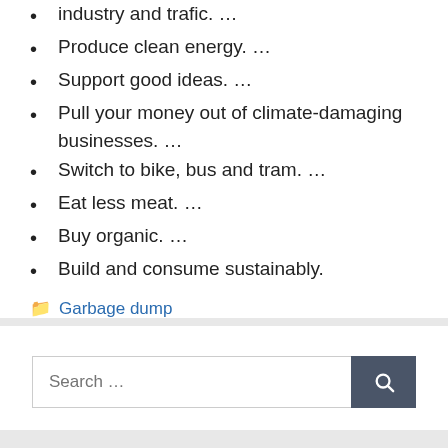industry and trafic. …
Produce clean energy. …
Support good ideas. …
Pull your money out of climate-damaging businesses. …
Switch to bike, bus and tram. …
Eat less meat. …
Buy organic. …
Build and consume sustainably.
Garbage dump
Search …